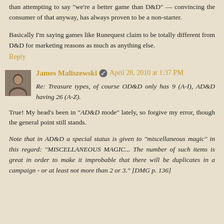than attempting to say 'we're a better game than D&D' — convincing the consumer of that anyway, has always proven to be a non-starter.
Basically I'm saying games like Runequest claim to be totally different from D&D for marketing reasons as much as anything else.
Reply
James Maliszewski  April 28, 2010 at 1:37 PM
Re: Treasure types, of course OD&D only has 9 (A-I), AD&D having 26 (A-Z).
True! My head's been in "AD&D mode" lately, so forgive my error, though the general point still stands.
Note that in AD&D a special status is given to "miscellaneous magic" in this regard: "MISCELLANEOUS MAGIC... The number of such items is great in order to make it improbable that there will be duplicates in a campaign - or at least not more than 2 or 3." [DMG p. 136]